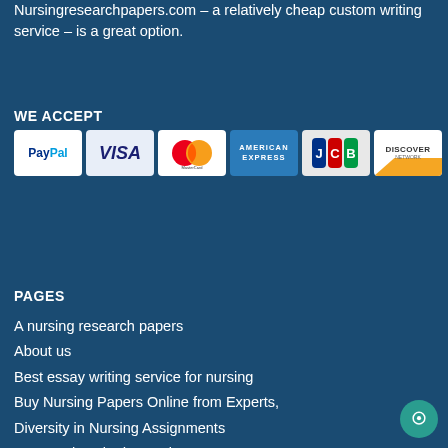Nursingresearchpapers.com – a relatively cheap custom writing service – is a great option.
WE ACCEPT
[Figure (infographic): Payment method logos: PayPal, VISA, MasterCard, American Express, JCB, Discover]
PAGES
A nursing research papers
About us
Best essay writing service for nursing
Buy Nursing Papers Online from Experts,
Diversity in Nursing Assignments
Frequently Asked Questions
How it works